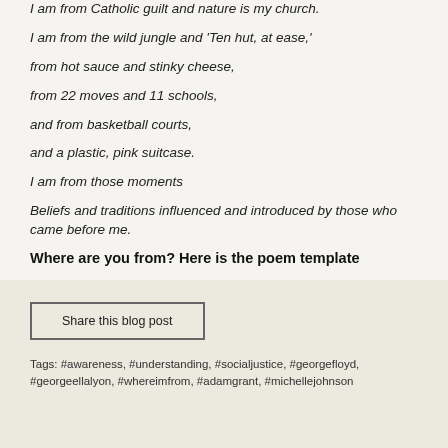I am from Catholic guilt and nature is my church.
I am from the wild jungle and 'Ten hut, at ease,'
from hot sauce and stinky cheese,
from 22 moves and 11 schools,
and from basketball courts,
and a plastic, pink suitcase.
I am from those moments
Beliefs and traditions influenced and introduced by those who came before me.
Where are you from? Here is the poem template
Share this blog post
Tags: #awareness, #understanding, #socialjustice, #georgefloyd, #georgeellalyon, #whereimfrom, #adamgrant, #michellejohnson